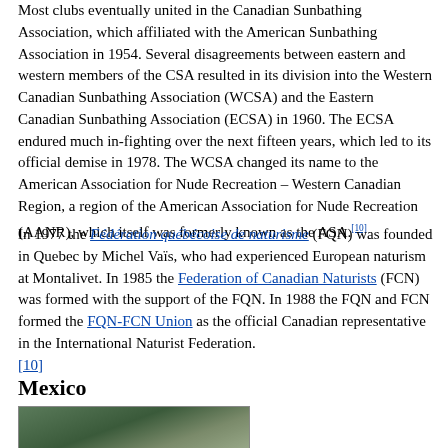Most clubs eventually united in the Canadian Sunbathing Association, which affiliated with the American Sunbathing Association in 1954. Several disagreements between eastern and western members of the CSA resulted in its division into the Western Canadian Sunbathing Association (WCSA) and the Eastern Canadian Sunbathing Association (ECSA) in 1960. The ECSA endured much in-fighting over the next fifteen years, which led to its official demise in 1978. The WCSA changed its name to the American Association for Nude Recreation – Western Canadian Region, a region of the American Association for Nude Recreation (AANR), which itself was formerly known as the ASA.[10]
In 1977 the Fédération québécoise de naturisme (FQN) was founded in Quebec by Michel Vaïs, who had experienced European naturism at Montalivet. In 1985 the Federation of Canadian Naturists (FCN) was formed with the support of the FQN. In 1988 the FQN and FCN formed the FQN-FCN Union as the official Canadian representative in the International Naturist Federation.[10]
Mexico
[Figure (photo): Rocky coastal or hillside landscape photograph showing dark rocky outcrops against a blue sky]